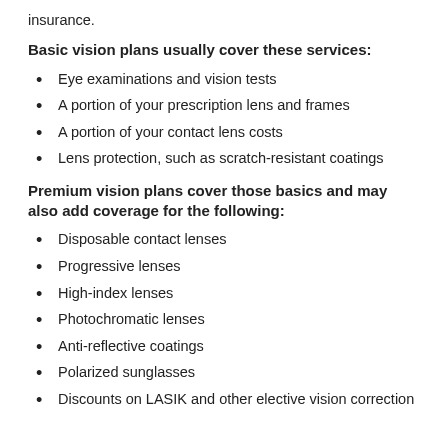insurance.
Basic vision plans usually cover these services:
Eye examinations and vision tests
A portion of your prescription lens and frames
A portion of your contact lens costs
Lens protection, such as scratch-resistant coatings
Premium vision plans cover those basics and may also add coverage for the following:
Disposable contact lenses
Progressive lenses
High-index lenses
Photochromatic lenses
Anti-reflective coatings
Polarized sunglasses
Discounts on LASIK and other elective vision correction